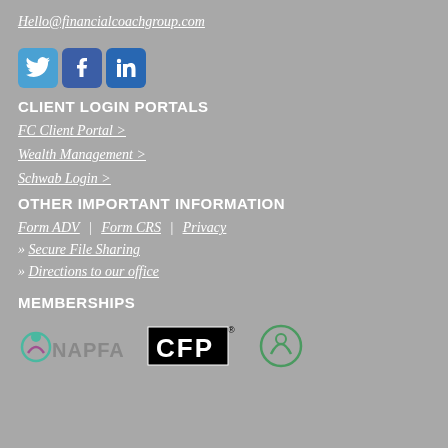Hello@financialcoachgroup.com
[Figure (other): Social media icons: Twitter (blue bird), Facebook (blue f), LinkedIn (blue in)]
CLIENT LOGIN PORTALS
FC Client Portal >
Wealth Management >
Schwab Login >
OTHER IMPORTANT INFORMATION
Form ADV  |  Form CRS |  Privacy
» Secure File Sharing
» Directions to our office
MEMBERSHIPS
[Figure (logo): Membership logos: NAPFA (colorful circle icon with text NAPFA), CFP (black box with CFP text and registered mark), Green circle logo]